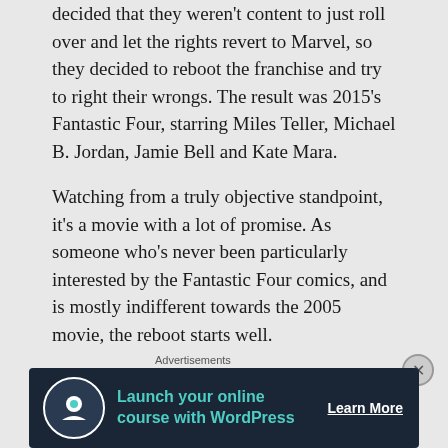decided that they weren't content to just roll over and let the rights revert to Marvel, so they decided to reboot the franchise and try to right their wrongs. The result was 2015's Fantastic Four, starring Miles Teller, Michael B. Jordan, Jamie Bell and Kate Mara.
Watching from a truly objective standpoint, it's a movie with a lot of promise. As someone who's never been particularly interested by the Fantastic Four comics, and is mostly indifferent towards the 2005 movie, the reboot starts well.
It establishes its characters and their relationships quickly, and details what they're doing without delving
Advertisements
[Figure (other): Advertisement banner for WordPress online course with teal text 'Launch your online course with WordPress' and a Learn More button on dark navy background with a circular icon.]